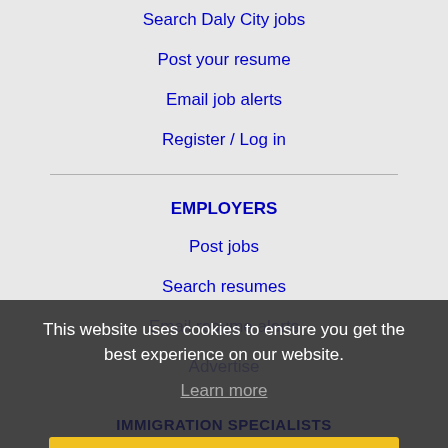Search Daly City jobs
Post your resume
Email job alerts
Register / Log in
EMPLOYERS
Post jobs
Search resumes
Email resume alerts
Advertise
This website uses cookies to ensure you get the best experience on our website.
Learn more
IMMIGRATION SPECIALISTS
Got it!
Post jobs
Immigration FAQs
Learn more